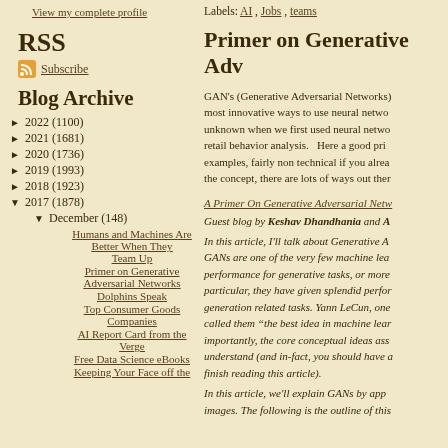View my complete profile
RSS
Subscribe
Blog Archive
► 2022 (1100)
► 2021 (1681)
► 2020 (1736)
► 2019 (1993)
► 2018 (1923)
▼ 2017 (1878)
▼ December (148)
Humans and Machines Are Better When They Team Up
Primer on Generative Adversarial Networks
Dolphins Speak
Top Consumer Goods Companies
AI Report Card from the Verge
Free Data Science eBooks
Keeping Your Face off the
Labels: AI , Jobs , teams
Primer on Generative Adv
GAN's (Generative Adversarial Networks) most innovative ways to use neural netwo unknown when we first used neural netwo retail behavior analysis.   Here a good pri examples, fairly non technical if you alrea the concept, there are lots of ways out ther
A Primer On Generative Adversarial Netw Guest blog by Keshav Dhandhania and A
In this article, I'll talk about Generative A GANs are one of the very few machine lea performance for generative tasks, or more particular, they have given splendid perfor generation related tasks. Yann LeCun, one called them "the best idea in machine lea importantly, the core conceptual ideas ass understand (and in-fact, you should have finish reading this article).
In this article, we'll explain GANs by app images. The following is the outline of this